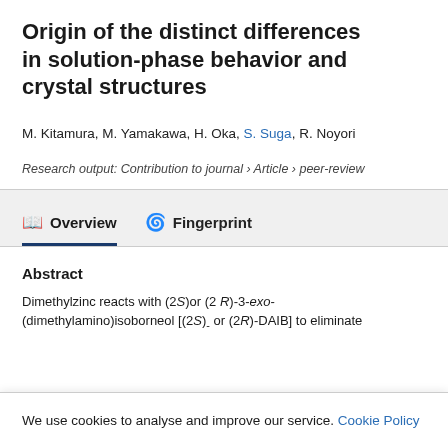Origin of the distinct differences in solution-phase behavior and crystal structures
M. Kitamura, M. Yamakawa, H. Oka, S. Suga, R. Noyori
Research output: Contribution to journal › Article › peer-review
Abstract
Dimethylzinc reacts with (2S)or (2 R)-3-exo-(dimethylamino)isoborneol [(2S)- or (2R)-DAIB] to eliminate...
We use cookies to analyse and improve our service. Cookie Policy